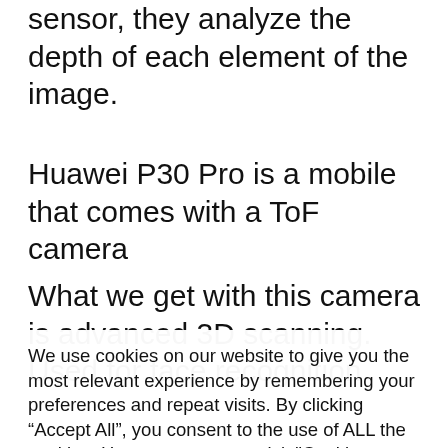sensor, they analyze the depth of each element of the image.
Huawei P30 Pro is a mobile that comes with a ToF camera
What we get with this camera is advanced 3D scanning. Used for face recognition
We use cookies on our website to give you the most relevant experience by remembering your preferences and repeat visits. By clicking “Accept All”, you consent to the use of ALL the cookies. However, you may visit "Cookie Settings" to provide a controlled consent.